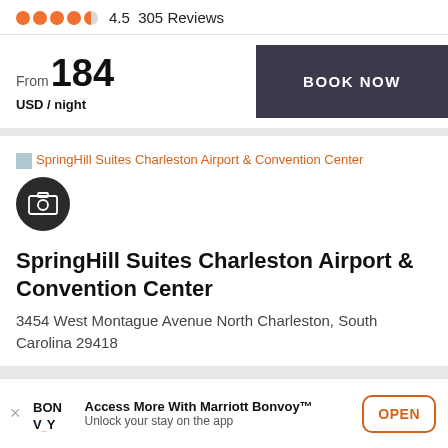4.5  305 Reviews
From 184 USD / night
BOOK NOW
SpringHill Suites Charleston Airport & Convention Center
SpringHill Suites Charleston Airport & Convention Center
3454 West Montague Avenue North Charleston, South Carolina 29418
Access More With Marriott Bonvoy™ Unlock your stay on the app
OPEN